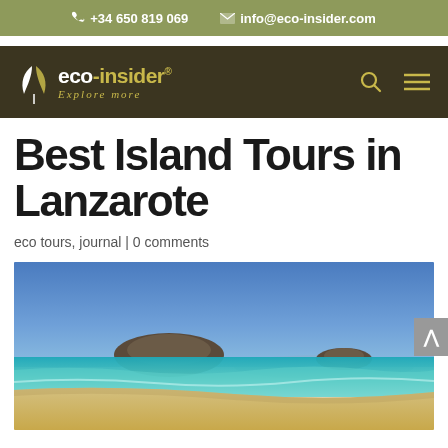+34 650 819 069  info@eco-insider.com
[Figure (logo): eco-insider logo with leaf icon and tagline 'Explore more' on dark olive background, with search and menu icons]
Best Island Tours in Lanzarote
eco tours, journal | 0 comments
[Figure (photo): Tropical beach with turquoise water, sandy shore, and a rocky island in the background under a clear blue sky — Lanzarote landscape]